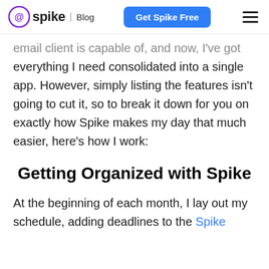spike | Blog   Get Spike Free   ☰
email client is capable of, and now, I've got everything I need consolidated into a single app. However, simply listing the features isn't going to cut it, so to break it down for you on exactly how Spike makes my day that much easier, here's how I work:
Getting Organized with Spike
At the beginning of each month, I lay out my schedule, adding deadlines to the Spike